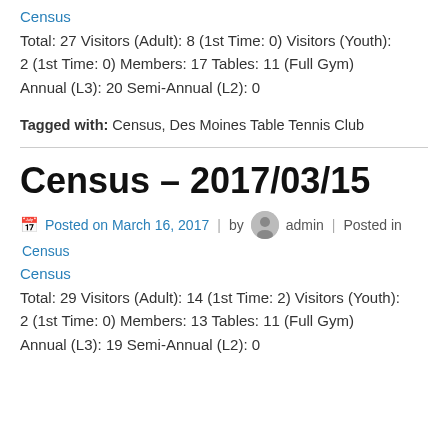Census
Total: 27 Visitors (Adult): 8 (1st Time: 0) Visitors (Youth): 2 (1st Time: 0) Members: 17 Tables: 11 (Full Gym) Annual (L3): 20 Semi-Annual (L2): 0
Tagged with: Census, Des Moines Table Tennis Club
Census – 2017/03/15
Posted on March 16, 2017 | by admin | Posted in Census
Census
Total: 29 Visitors (Adult): 14 (1st Time: 2) Visitors (Youth): 2 (1st Time: 0) Members: 13 Tables: 11 (Full Gym) Annual (L3): 19 Semi-Annual (L2): 0